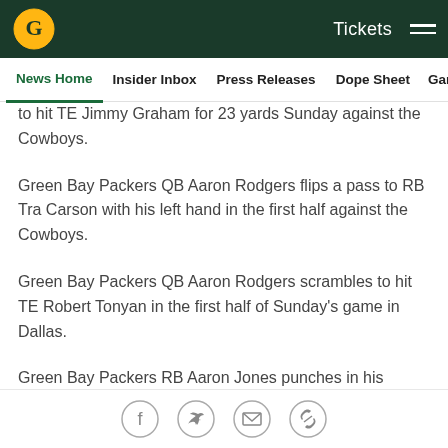Green Bay Packers — Tickets [hamburger menu]
News Home  Insider Inbox  Press Releases  Dope Sheet  Game...
to hit TE Jimmy Graham for 23 yards Sunday against the Cowboys.
Green Bay Packers QB Aaron Rodgers flips a pass to RB Tra Carson with his left hand in the first half against the Cowboys.
Green Bay Packers QB Aaron Rodgers scrambles to hit TE Robert Tonyan in the first half of Sunday's game in Dallas.
Green Bay Packers RB Aaron Jones punches in his
Social share icons: Facebook, Twitter, Email, Link